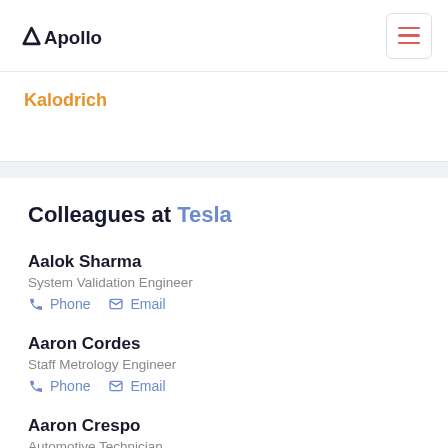Apollo
Kalodrich
Colleagues at Tesla
Aalok Sharma
System Validation Engineer
Phone  Email
Aaron Cordes
Staff Metrology Engineer
Phone  Email
Aaron Crespo
Automotive Technician